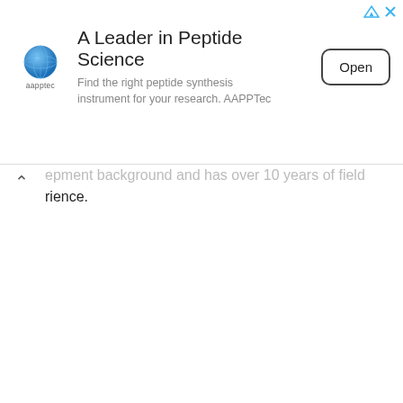[Figure (other): AAPPTec advertisement banner: globe logo with 'aapptec' text, headline 'A Leader in Peptide Science', subtext 'Find the right peptide synthesis instrument for your research. AAPPTec', and an 'Open' button.]
...epment background and has over 10 years of field experience.